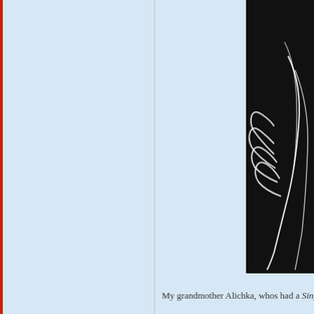[Figure (photo): Black and white photo showing white line-art silhouette of hands against a black background, cropped at the right edge of the page. The photo spans approximately the top two-thirds of the right column.]
My grandmother Alichka, whos had a Singer sewing machine. It